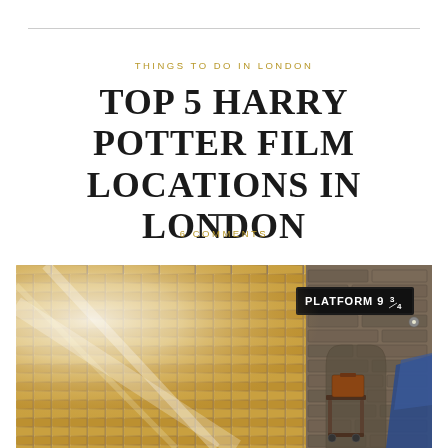THINGS TO DO IN LONDON
TOP 5 HARRY POTTER FILM LOCATIONS IN LONDON
6 COMMENTS
[Figure (photo): Photo of Platform 9 3/4 sign at King's Cross station, showing a brick wall with a black sign reading 'PLATFORM 9 3/4', a luggage trolley, and bright light flare on the left side.]